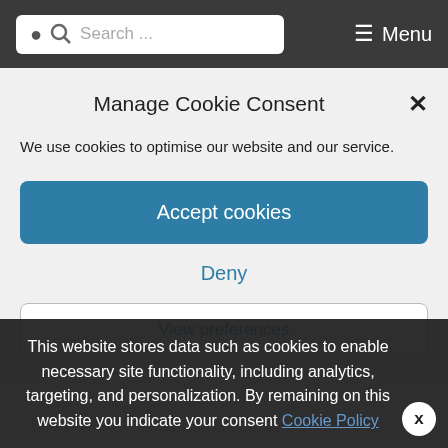Search ... Menu
published by E.P. Dutton
1985 Art Nouveau Jewelry 2, 1st USA edition
Manage Cookie Consent
We use cookies to optimise our website and our service.
Accept cookies
Deny
View preferences
This website stores data such as cookies to enable necessary site functionality, including analytics, targeting, and personalization. By remaining on this website you indicate your consent Cookie Policy